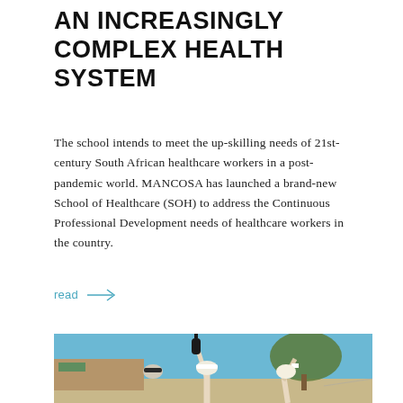AN INCREASINGLY COMPLEX HEALTH SYSTEM
The school intends to meet the up-skilling needs of 21st-century South African healthcare workers in a post-pandemic world. MANCOSA has launched a brand-new School of Healthcare (SOH) to address the Continuous Professional Development needs of healthcare workers in the country.
read →
[Figure (photo): Outdoor photo showing people with raised arms/hands, one wearing a black glove pointing upward, others in caps, with buildings and trees in background under blue sky.]